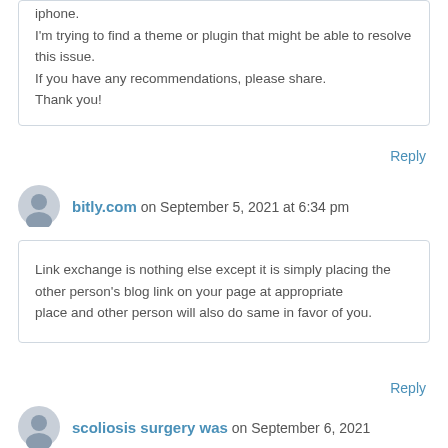iphone.
I'm trying to find a theme or plugin that might be able to resolve this issue.
If you have any recommendations, please share.
Thank you!
Reply
bitly.com on September 5, 2021 at 6:34 pm
Link exchange is nothing else except it is simply placing the other person's blog link on your page at appropriate
place and other person will also do same in favor of you.
Reply
scoliosis surgery was on September 6, 2021